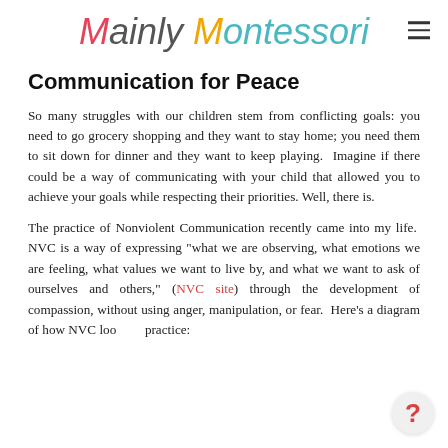Mainly Montessori
Communication for Peace
So many struggles with our children stem from conflicting goals: you need to go grocery shopping and they want to stay home; you need them to sit down for dinner and they want to keep playing.  Imagine if there could be a way of communicating with your child that allowed you to achieve your goals while respecting their priorities. Well, there is.
The practice of Nonviolent Communication recently came into my life.  NVC is a way of expressing "what we are observing, what emotions we are feeling, what values we want to live by, and what we want to ask of ourselves and others," (NVC site) through the development of compassion, without using anger, manipulation, or fear.  Here's a diagram of how NVC looks in practice: